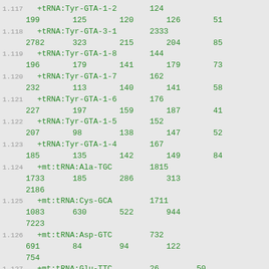1.117  +tRNA:Tyr-GTA-1-2  124
199  125  120  126  51
1.118  +tRNA:Tyr-GTA-3-1  2333
2782  323  215  204  85
1.119  +tRNA:Tyr-GTA-1-8  144
196  179  141  179  73
1.120  +tRNA:Tyr-GTA-1-7  162
232  113  140  141  58
1.121  +tRNA:Tyr-GTA-1-6  176
227  197  159  187  41
1.122  +tRNA:Tyr-GTA-1-5  152
207  98  138  147  52
1.123  +tRNA:Tyr-GTA-1-4  167
185  135  142  149  84
1.124  +mt:tRNA:Ala-TGC  1815
1733  185  286  313
2186
1.125  +mt:tRNA:Cys-GCA  1711
1083  630  522  944
7223
1.126  +mt:tRNA:Asp-GTC  732
691  84  94  122
754
1.127  +mt:tRNA:Glu-TTC  26  50
2  5  12  40
1.128  +mt:tRNA:Phe-GAA  9081
5202  595  1210  1135
21591
1.129  +mt:tRNA:Gly-TCC  3396
1777  220  380  457